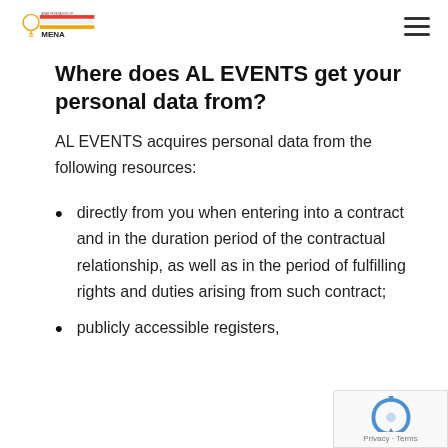AL EVENTS MENA logo and navigation hamburger menu
Where does AL EVENTS get your personal data from?
AL EVENTS acquires personal data from the following resources:
directly from you when entering into a contract and in the duration period of the contractual relationship, as well as in the period of fulfilling rights and duties arising from such contract;
publicly accessible registers,